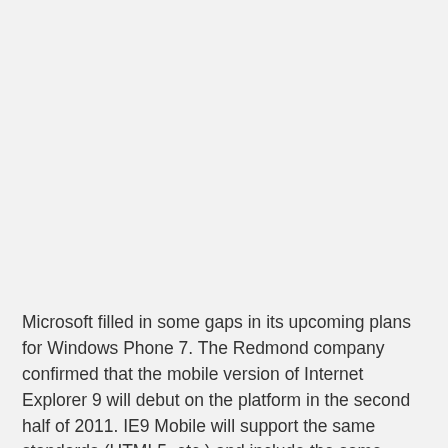Microsoft filled in some gaps in its upcoming plans for Windows Phone 7. The Redmond company confirmed that the mobile version of Internet Explorer 9 will debut on the platform in the second half of 2011. IE9 Mobile will support the same standards (HTML5, etc.) and include the same hardware accelerated graphics as the PC version. The new mobile browser will bring improved